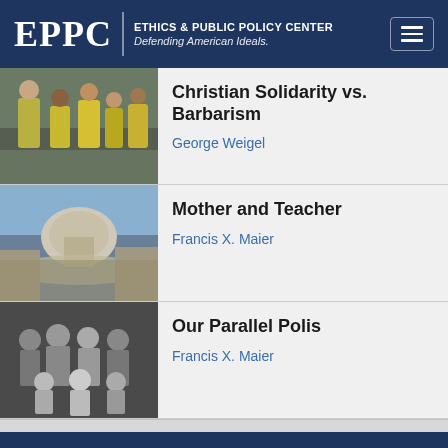EPPC | ETHICS & PUBLIC POLICY CENTER Defending American Ideals.
[Figure (photo): People in yellow vests helping outdoors]
Christian Solidarity vs. Barbarism
George Weigel
[Figure (photo): Aerial view of St. Peter's Square and Vatican City]
Mother and Teacher
Francis X. Maier
[Figure (photo): Black and white group photo of several people]
Our Parallel Polis
Francis X. Maier
LEARN
Publications
…